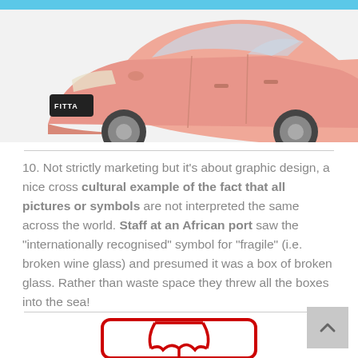[Figure (photo): Partial front view of a pink/salmon-colored compact car labeled 'FITTA' on a white/light background]
10. Not strictly marketing but it's about graphic design, a nice cross cultural example of the fact that all pictures or symbols are not interpreted the same across the world. Staff at an African port saw the "internationally recognised" symbol for "fragile" (i.e. broken wine glass) and presumed it was a box of broken glass. Rather than waste space they threw all the boxes into the sea!
[Figure (illustration): Red outlined fragile symbol showing a broken wine glass inside a rectangular border]